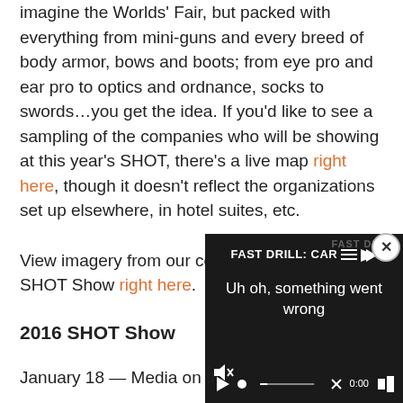imagine the Worlds' Fair, but packed with everything from mini-guns and every breed of body armor, bows and boots; from eye pro and ear pro to optics and ordnance, socks to swords…you get the idea. If you'd like to see a sampling of the companies who will be showing at this year's SHOT, there's a live map right here, though it doesn't reflect the organizations set up elsewhere, in hotel suites, etc.
View imagery from our coverage of last year's SHOT Show right here.
2016 SHOT Show
[Figure (screenshot): Video player overlay showing 'FAST DRILL: CAR' title with error message 'Uh oh, something went wrong', video controls including play button, scrubber at 0:00, fullscreen button, and mute/speaker icon.]
January 18 — Media on th